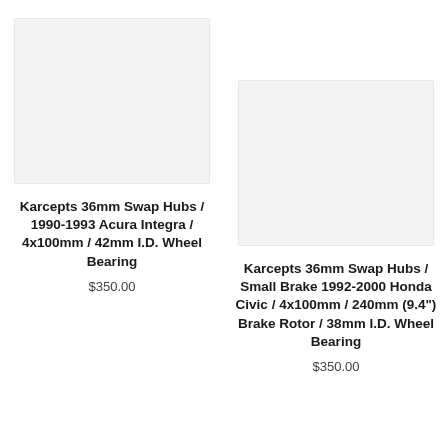[Figure (photo): Product image placeholder for Karcepts 36mm Swap Hubs 1990-1993 Acura Integra]
Karcepts 36mm Swap Hubs / 1990-1993 Acura Integra / 4x100mm / 42mm I.D. Wheel Bearing
$350.00
[Figure (photo): Product image placeholder for Karcepts 36mm Swap Hubs Small Brake 1992-2000 Honda Civic]
Karcepts 36mm Swap Hubs / Small Brake 1992-2000 Honda Civic / 4x100mm / 240mm (9.4") Brake Rotor / 38mm I.D. Wheel Bearing
$350.00